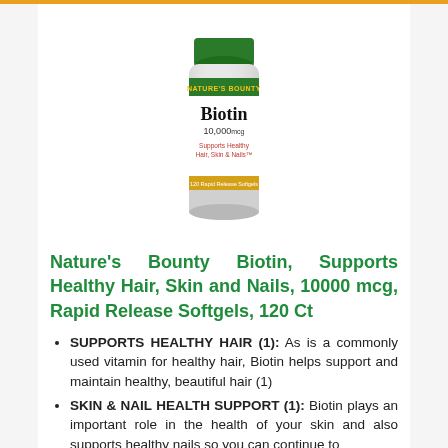[Figure (photo): Nature's Bounty Biotin 10,000 mcg supplement bottle with green cap and green/white label]
Nature's Bounty Biotin, Supports Healthy Hair, Skin and Nails, 10000 mcg, Rapid Release Softgels, 120 Ct
SUPPORTS HEALTHY HAIR (1): As is a commonly used vitamin for healthy hair, Biotin helps support and maintain healthy, beautiful hair (1)
SKIN & NAIL HEALTH SUPPORT (1): Biotin plays an important role in the health of your skin and also supports healthy nails so you can continue to